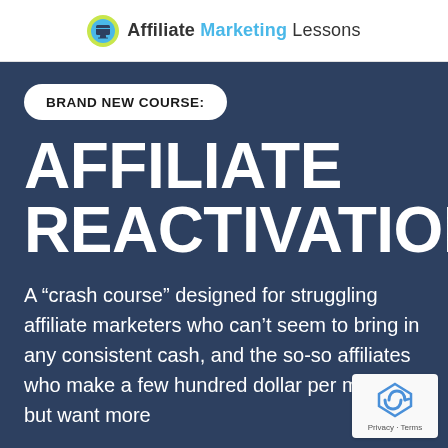Affiliate Marketing Lessons
BRAND NEW COURSE:
AFFILIATE REACTIVATION
A “crash course” designed for struggling affiliate marketers who can’t seem to bring in any consistent cash, and the so-so affiliates who make a few hundred dollar per month, but want more